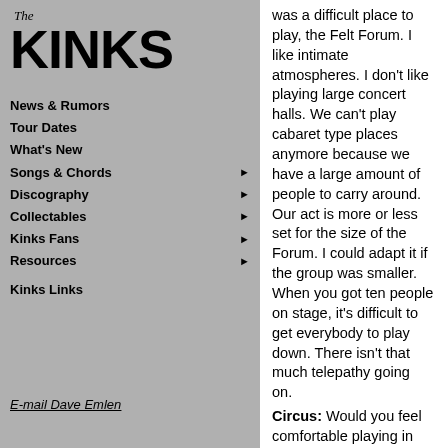[Figure (logo): The Kinks logo with 'The' in italic above 'KINKS' in large bold stylized font]
News & Rumors
Tour Dates
What's New
Songs & Chords ▶
Discography ▶
Collectables ▶
Kinks Fans ▶
Resources ▶
Kinks Links
E-mail Dave Emlen
was a difficult place to play, the Felt Forum. I like intimate atmospheres. I don't like playing large concert halls. We can't play cabaret type places anymore because we have a large amount of people to carry around. Our act is more or less set for the size of the Forum. I could adapt it if the group was smaller. When you got ten people on stage, it's difficult to get everybody to play down. There isn't that much telepathy going on.
Circus: Would you feel comfortable playing in Las Vegas?
Ray: No. I'd play Broadway. A musical. The thing I'm working on now is going to be a musical, "Preservation Act I" and "Preservation Act II." There's Act I, an interlude, Act II and that's it, the end.
Circus: What's "Money Talks," a new Kinks song or is it an album?
Ray: It's a record being put out in